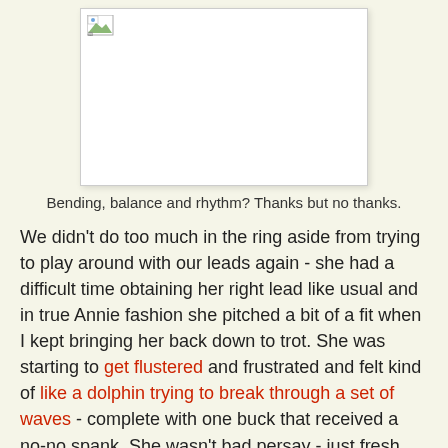[Figure (photo): Broken/missing image placeholder showing a small landscape icon in the top-left corner of a white box with light border]
Bending, balance and rhythm? Thanks but no thanks.
We didn't do too much in the ring aside from trying to play around with our leads again - she had a difficult time obtaining her right lead like usual and in true Annie fashion she pitched a bit of a fit when I kept bringing her back down to trot. She was starting to get flustered and frustrated and felt kind of like a dolphin trying to break through a set of waves - complete with one buck that received a no-no spank. She wasn't bad persay - just fresh and anticipating what I wanted from her.
I rode it out tho and just laughed, continuing to ask her to